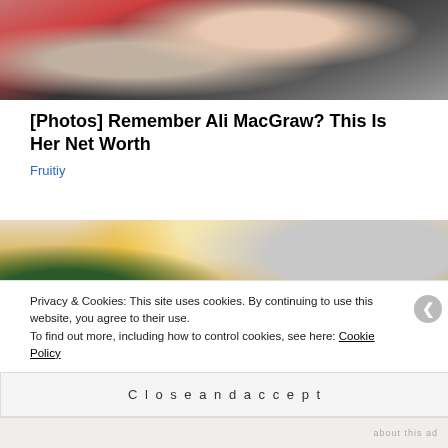[Figure (photo): Top portion of a photo showing a person, partially cropped, with reddish/orange scarf and dark clothing, gray background.]
[Photos] Remember Ali MacGraw? This Is Her Net Worth
Fruitiy
[Figure (photo): Photo of a blonde woman in a yellow knit sweater looking downward, with a plant and gray interior in the background.]
Privacy & Cookies: This site uses cookies. By continuing to use this website, you agree to their use.
To find out more, including how to control cookies, see here: Cookie Policy
Close and accept